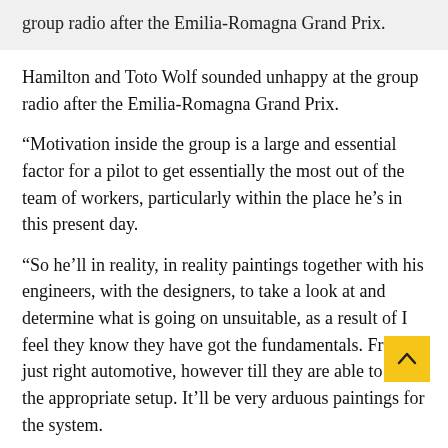group radio after the Emilia-Romagna Grand Prix.
Hamilton and Toto Wolf sounded unhappy at the group radio after the Emilia-Romagna Grand Prix.
“Motivation inside the group is a large and essential factor for a pilot to get essentially the most out of the team of workers, particularly within the place he’s in this present day.
“So he’ll in reality, in reality paintings together with his engineers, with the designers, to take a look at and determine what is going on unsuitable, as a result of I feel they know they have got the fundamentals. From a just right automotive, however till they are able to get the appropriate setup. It’ll be very arduous paintings for the system.
“However that is the place he’s going to in reality